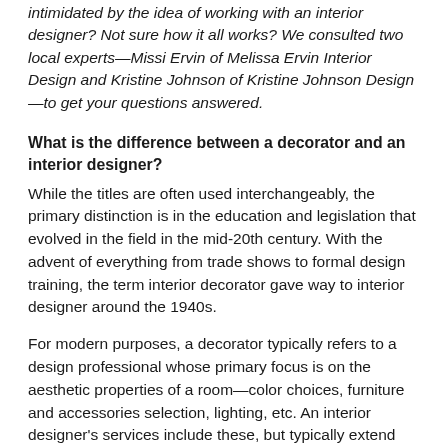intimidated by the idea of working with an interior designer? Not sure how it all works? We consulted two local experts—Missi Ervin of Melissa Ervin Interior Design and Kristine Johnson of Kristine Johnson Design—to get your questions answered.
What is the difference between a decorator and an interior designer?
While the titles are often used interchangeably, the primary distinction is in the education and legislation that evolved in the field in the mid-20th century. With the advent of everything from trade shows to formal design training, the term interior decorator gave way to interior designer around the 1940s.
For modern purposes, a decorator typically refers to a design professional whose primary focus is on the aesthetic properties of a room—color choices, furniture and accessories selection, lighting, etc. An interior designer's services include these, but typically extend well beyond furnishing and color choices. A designer is trained to design...